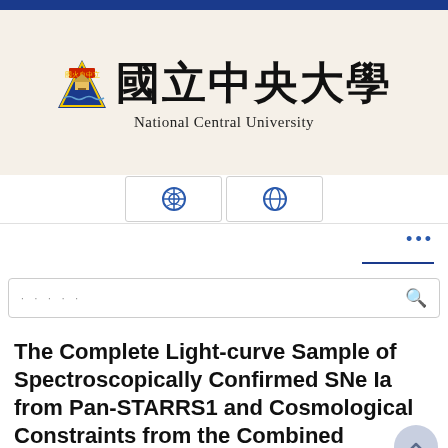[Figure (logo): National Central University logo with triangle emblem and Chinese characters 國立中央大學 with English subtitle 'National Central University']
[Figure (screenshot): Navigation bar with two icon buttons (help/globe icons) and a search box with dots placeholder and search icon]
The Complete Light-curve Sample of Spectroscopically Confirmed SNe Ia from Pan-STARRS1 and Cosmological Constraints from the Combined Pantheon Sample